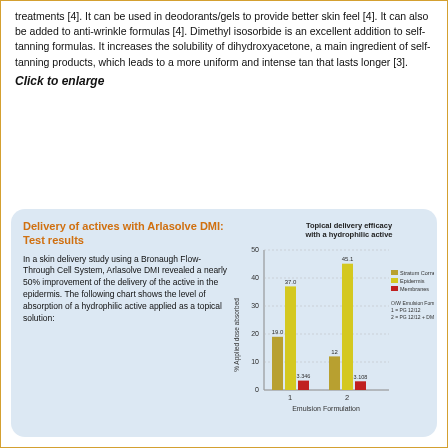treatments [4]. It can be used in deodorants/gels to provide better skin feel [4]. It can also be added to anti-wrinkle formulas [4]. Dimethyl isosorbide is an excellent addition to self-tanning formulas. It increases the solubility of dihydroxyacetone, a main ingredient of self-tanning products, which leads to a more uniform and intense tan that lasts longer [3].
Click to enlarge
[Figure (grouped-bar-chart): Topical delivery efficacy with a hydrophilic active]
Delivery of actives with Arlasolve DMI: Test results
In a skin delivery study using a Bronaugh Flow-Through Cell System, Arlasolve DMI revealed a nearly 50% improvement of the delivery of the active in the epidermis. The following chart shows the level of absorption of a hydrophilic active applied as a topical solution: